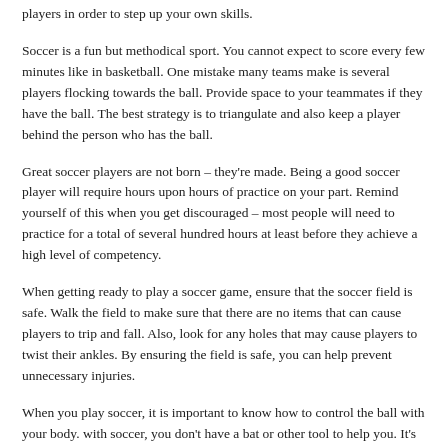players in order to step up your own skills.
Soccer is a fun but methodical sport. You cannot expect to score every few minutes like in basketball. One mistake many teams make is several players flocking towards the ball. Provide space to your teammates if they have the ball. The best strategy is to triangulate and also keep a player behind the person who has the ball.
Great soccer players are not born – they're made. Being a good soccer player will require hours upon hours of practice on your part. Remind yourself of this when you get discouraged – most people will need to practice for a total of several hundred hours at least before they achieve a high level of competency.
When getting ready to play a soccer game, ensure that the soccer field is safe. Walk the field to make sure that there are no items that can cause players to trip and fall. Also, look for any holes that may cause players to twist their ankles. By ensuring the field is safe, you can help prevent unnecessary injuries.
When you play soccer, it is important to know how to control the ball with your body. with soccer, you don't have a bat or other tool to help you. It's